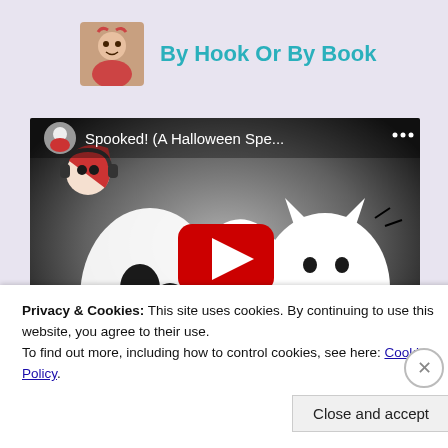By Hook Or By Book
[Figure (screenshot): YouTube video thumbnail showing cartoon characters (Simon's Cat style ghost and cat) with title 'Spooked! (A Halloween Spe...' and a red play button in the center]
Privacy & Cookies: This site uses cookies. By continuing to use this website, you agree to their use.
To find out more, including how to control cookies, see here: Cookie Policy
Close and accept